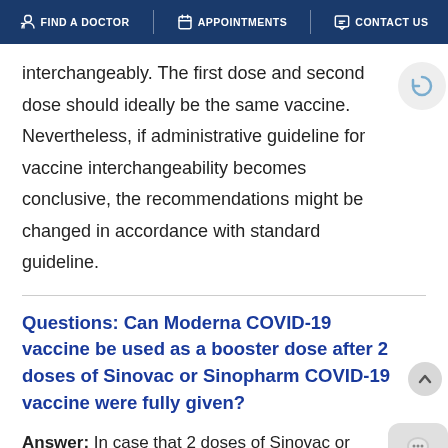FIND A DOCTOR  APPOINTMENTS  CONTACT US
interchangeably. The first dose and second dose should ideally be the same vaccine. Nevertheless, if administrative guideline for vaccine interchangeability becomes conclusive, the recommendations might be changed in accordance with standard guideline.
Questions: Can Moderna COVID-19 vaccine be used as a booster dose after 2 doses of Sinovac or Sinopharm COVID-19 vaccine were fully given?
Answer: In case that 2 doses of Sinovac or Sinopharm COVID-19 vaccine were given: Moderna COVID-19 vaccine should be administered 1-3 months apart from the second dose.